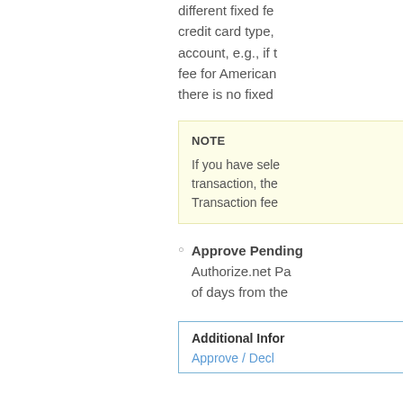different fixed fe credit card type, account, e.g., if t fee for American there is no fixed
NOTE
If you have sele transaction, the Transaction fee
Approve Pending Authorize.net Pa of days from the
Additional Infor
Approve / Decl